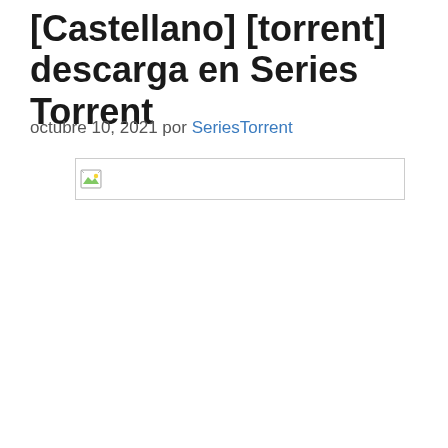[Castellano] [torrent] descarga en Series Torrent
octubre 10, 2021 por SeriesTorrent
[Figure (photo): Broken/unloaded image placeholder with small image icon on left side]